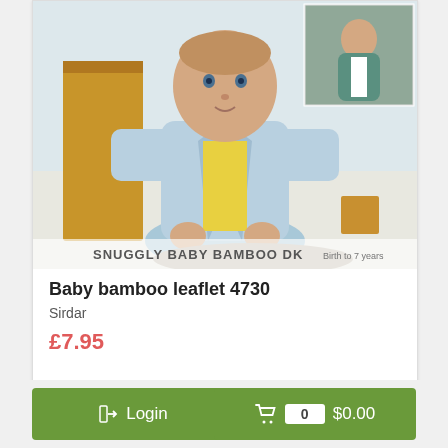[Figure (photo): Product image showing a knitting pattern leaflet cover: a baby wearing a light blue knitted cardigan sitting cross-legged, with a smaller inset image of a child in a teal cardigan. Text at bottom reads 'SNUGGLY BABY BAMBOO DK' and 'Birth to 7 years'.]
Baby bamboo leaflet 4730
Sirdar
£7.95
→] Login
0  $0.00